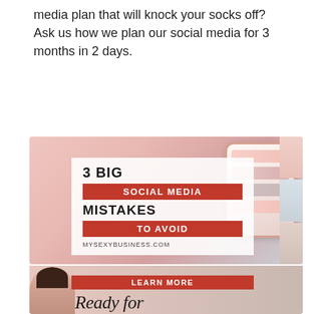media plan that will knock your socks off? Ask us how we plan our social media for 3 months in 2 days.
[Figure (infographic): Two stacked promotional image cards. The top card shows a smartphone with a white overlay panel reading '3 BIG' in bold, then a red bar with 'SOCIAL MEDIA', then 'MISTAKES' in bold, then a red bar with 'TO AVOID', and 'MYSEXYBUSINESS.COM' at the bottom, with photo strips on the right side. The bottom card shows a woman's photo with a red 'LEARN MORE' bar and cursive text reading 'Ready for'.]